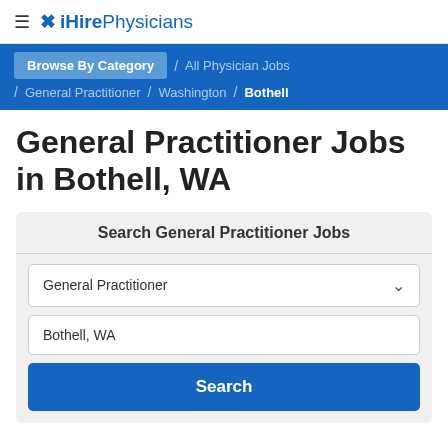≡ ✗ iHirePhysicians
Browse By Category / All Physician Jobs / General Practitioner / Washington / Bothell
General Practitioner Jobs in Bothell, WA
Search General Practitioner Jobs
General Practitioner
Bothell, WA
Search